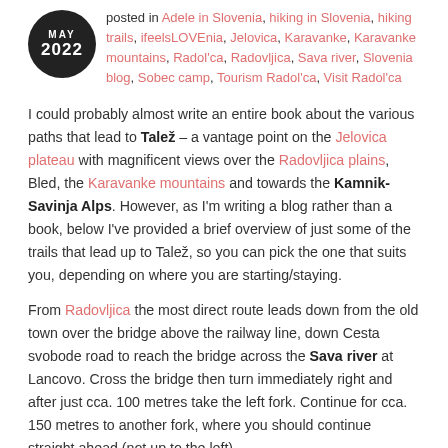MAY 2022 posted in Adele in Slovenia, hiking in Slovenia, hiking trails, ifeelsLOVEnia, Jelovica, Karavanke, Karavanke mountains, Radol'ca, Radovljica, Sava river, Slovenia blog, Sobec camp, Tourism Radol'ca, Visit Radol'ca
I could probably almost write an entire book about the various paths that lead to Talež – a vantage point on the Jelovica plateau with magnificent views over the Radovljica plains, Bled, the Karavanke mountains and towards the Kamnik-Savinja Alps. However, as I'm writing a blog rather than a book, below I've provided a brief overview of just some of the trails that lead up to Talež, so you can pick the one that suits you, depending on where you are starting/staying.
From Radovljica the most direct route leads down from the old town over the bridge above the railway line, down Cesta svobode road to reach the bridge across the Sava river at Lancovo. Cross the bridge then turn immediately right and after just cca. 100 metres take the left fork. Continue for cca. 150 metres to another fork, where you should continue straight ahead (not up to the left).